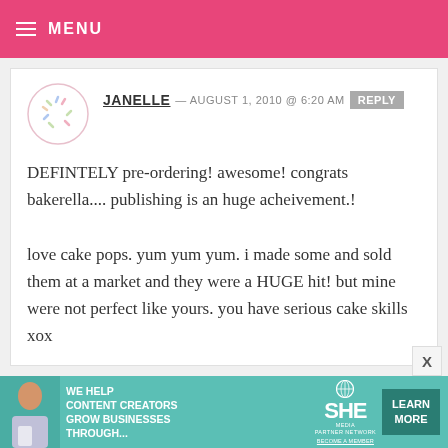MENU
JANELLE — AUGUST 1, 2010 @ 6:20 AM  REPLY
DEFINTELY pre-ordering! awesome! congrats bakerella.... publishing is an huge acheivement.!
love cake pops. yum yum yum. i made some and sold them at a market and they were a HUGE hit! but mine were not perfect like yours. you have serious cake skills xox
[Figure (infographic): SHE Partner Network advertisement banner: We help content creators grow businesses through...]
SHE PARTNER NETWORK — BECOME A MEMBER — LEARN MORE